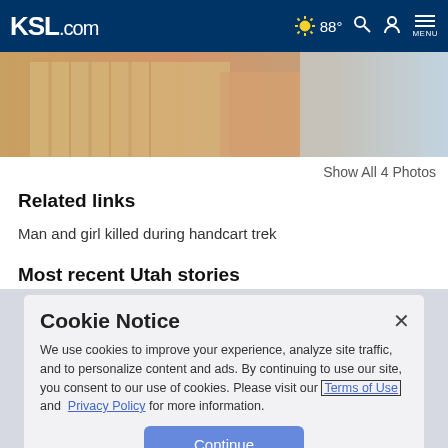KSL.com  ☀ 88°  🔍  👤  MENU
[Figure (photo): Partial photo of a person wearing a striped shirt with a blue sky background, cropped at top of page]
Show All 4 Photos
Related links
Man and girl killed during handcart trek
Most recent Utah stories
Cookie Notice
We use cookies to improve your experience, analyze site traffic, and to personalize content and ads. By continuing to use our site, you consent to our use of cookies. Please visit our Terms of Use and Privacy Policy for more information.
Continue